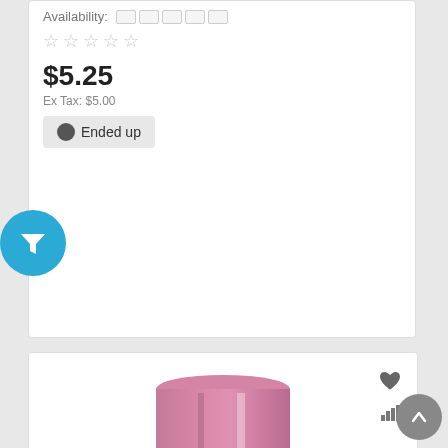Availability:
$5.25
Ex Tax: $5.00
Ended up
[Figure (photo): Product photo of Ultimate Bowling Products Thumb Slug Pink/Yellow 1 3/8, showing a cylindrical slug with pink top half and yellow/gold bottom half]
Ultimate Bowling Products - Thumb Slug Pink/Yellow 1 3/8
Availability: